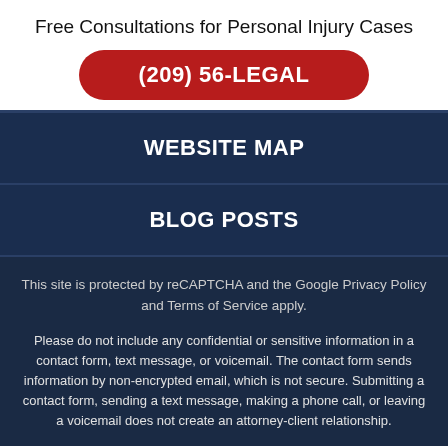Free Consultations for Personal Injury Cases
(209) 56-LEGAL
WEBSITE MAP
BLOG POSTS
This site is protected by reCAPTCHA and the Google Privacy Policy and Terms of Service apply.
Please do not include any confidential or sensitive information in a contact form, text message, or voicemail. The contact form sends information by non-encrypted email, which is not secure. Submitting a contact form, sending a text message, making a phone call, or leaving a voicemail does not create an attorney-client relationship.